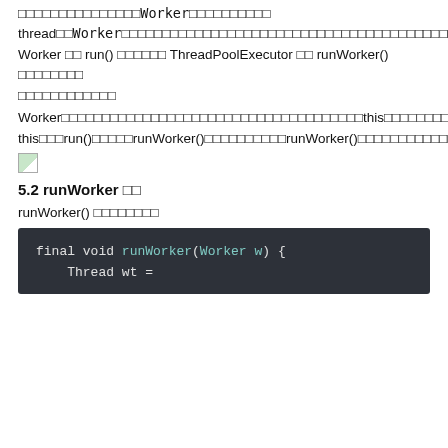□□□□□□□□□□□□□□□Worker□□□□□□□□□□ thread□□Worker□□□□□□□□□□□□□□□□□□□□□□□□□□□□□□□□□□□□□□□□□□□□□□□□□□□□□□□□□□□□run()□□□□□□Worker□□run()□□□□□□□□□□□□□□run()□□□Worker □□ run() □□□□□□ ThreadPoolExecutor □□ runWorker() □□□□□□□□□□□□□□□□□□□□□Worker□□□□□□□□□□□□□□□□□□□□□□□□□□□□□□□□□□□□□this□□□□□□□□□□□□start()□□□□□□□□this□□□run()□□□this□□□run()□□□□□runWorker()□□□□□□□□□□runWorker()□□□□□□□□□□□□run()□□□□□□□□□□□□
[Figure (illustration): Small broken image icon]
5.2 runWorker □□
runWorker() □□□□□□□□
final void runWorker(Worker w) {
    Thread wt =